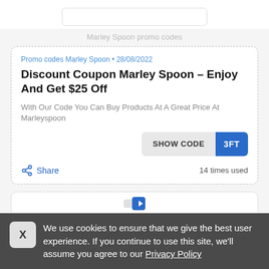Marley Spoon promo codes
Promo codes Marley Spoon • 28/08/2022
Discount Coupon Marley Spoon - Enjoy And Get $25 Off
With Our Code You Can Buy Products At A Great Price At Marleyspoon
SHOW CODE  3FT
Share   14 times used
We use cookies to ensure that we give the best user experience. If you continue to use this site, we'll assume you agree to our Privacy Policy